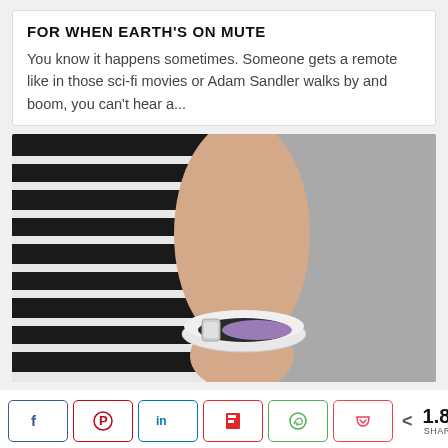FOR WHEN EARTH'S ON MUTE
You know it happens sometimes. Someone gets a remote like in those sci-fi movies or Adam Sandler walks by and boom, you can't hear a...
[Figure (photo): A close-up photo of a person wearing a white and black smart bracelet/wristband on their wrist, wearing a black and white striped shirt in the background with a gray backdrop.]
< 1.8K SHARES (social share bar with Facebook, Pinterest, LinkedIn, Flipboard, WhatsApp, Pocket buttons)